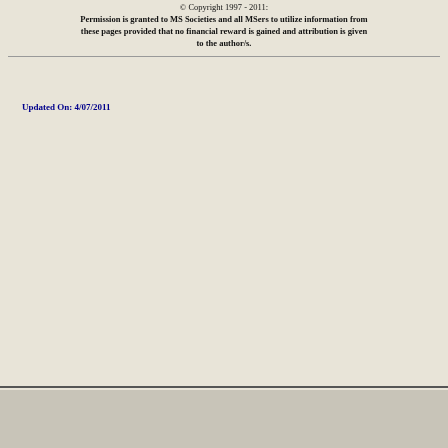© Copyright 1997 - 2011:
Permission is granted to MS Societies and all MSers to utilize information from these pages provided that no financial reward is gained and attribution is given to the author/s.
Updated On: 4/07/2011